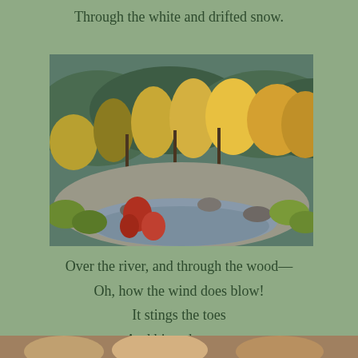Through the white and drifted snow.
[Figure (photo): Autumn river scene with colorful fall foliage trees in yellow, orange, and red, rocky riverbed with shallow water flowing through, green and red shrubs in foreground, forested hillside in background.]
Over the river, and through the wood—
Oh, how the wind does blow!
It stings the toes
And bites the nose
As over the ground we go.
[Figure (photo): Partial image at bottom of page, cropped.]